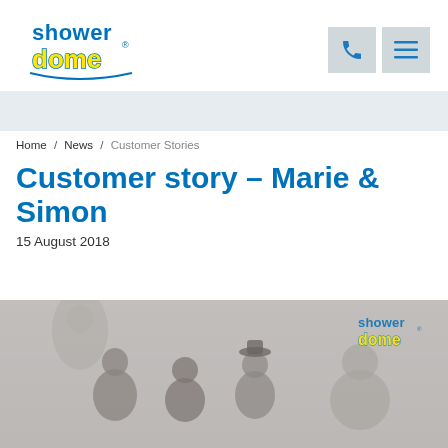[Figure (logo): Shower Dome logo with blue and yellow text]
[Figure (other): Phone icon button and hamburger menu icon button on grey background]
Home / News / Customer Stories
Customer story – Marie & Simon
15 August 2018
[Figure (photo): Photo of a group of people (Marie and Simon family/couple) with Shower Dome watermark logo in upper right corner of photo]